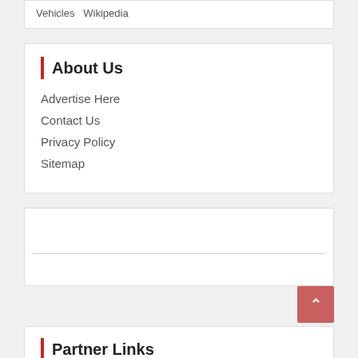Vehicles  Wikipedia
About Us
Advertise Here
Contact Us
Privacy Policy
Sitemap
Partner Links